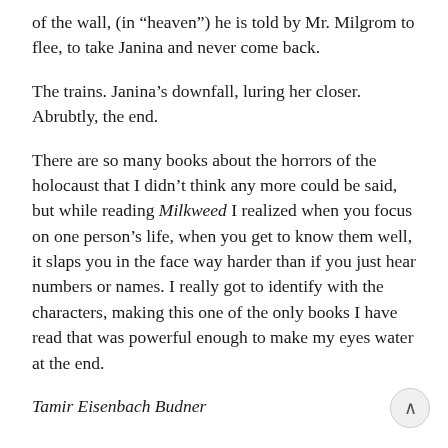of the wall, (in “heaven”) he is told by Mr. Milgrom to flee, to take Janina and never come back.
The trains. Janina’s downfall, luring her closer. Abrubtly, the end.
There are so many books about the horrors of the holocaust that I didn’t think any more could be said, but while reading Milkweed I realized when you focus on one person’s life, when you get to know them well, it slaps you in the face way harder than if you just hear numbers or names. I really got to identify with the characters, making this one of the only books I have read that was powerful enough to make my eyes water at the end.
Tamir Eisenbach Budner